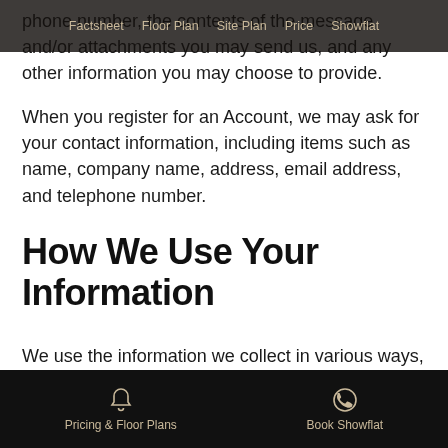Factsheet   Floor Plan   Site Plan   Price   Showflat
phone number, the contents of the message and/or attachments you may send us, and any other information you may choose to provide.
When you register for an Account, we may ask for your contact information, including items such as name, company name, address, email address, and telephone number.
How We Use Your Information
We use the information we collect in various ways, including to:
Pricing & Floor Plans   Book Showflat